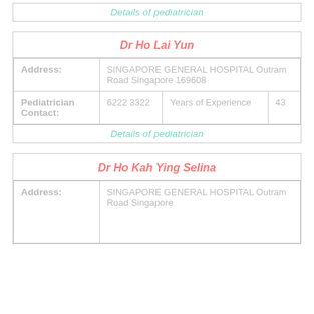Details of pediatrician
| Dr Ho Lai Yun |
| --- |
| Address: | SINGAPORE GENERAL HOSPITAL Outram Road Singapore 169608 |
| Pediatrician Contact: | 6222 3322 | Years of Experience | 43 |
Details of pediatrician
| Dr Ho Kah Ying Selina |
| --- |
| Address: | SINGAPORE GENERAL HOSPITAL Outram Road Singapore |